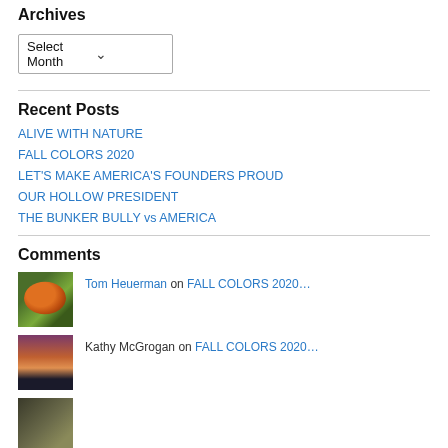Archives
Select Month
Recent Posts
ALIVE WITH NATURE
FALL COLORS 2020
LET'S MAKE AMERICA'S FOUNDERS PROUD
OUR HOLLOW PRESIDENT
THE BUNKER BULLY vs AMERICA
Comments
Tom Heuerman on FALL COLORS 2020…
Kathy McGrogan on FALL COLORS 2020…